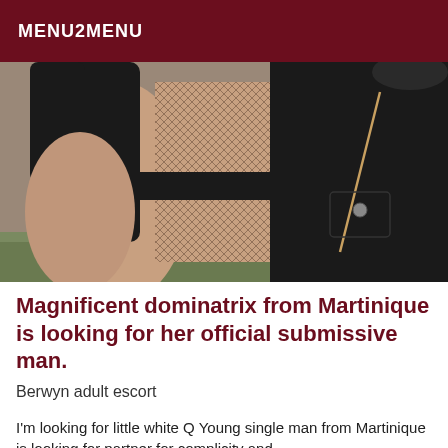MENU2MENU
[Figure (photo): Close-up photo of a person wearing black leather clothing and fishnet stockings, shot outdoors.]
Magnificent dominatrix from Martinique is looking for her official submissive man.
Berwyn adult escort
I'm looking for little white Q Young single man from Martinique is looking for partner for complicity and